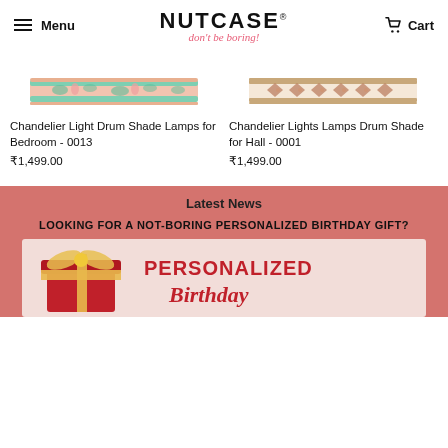Menu | NUTCASE don't be boring! | Cart
[Figure (photo): Product image: Chandelier Light Drum Shade Lamps for Bedroom - 0013, tropical flamingo pattern]
Chandelier Light Drum Shade Lamps for Bedroom - 0013
₹1,499.00
[Figure (photo): Product image: Chandelier Lights Lamps Drum Shade for Hall - 0001, geometric diamond pattern]
Chandelier Lights Lamps Drum Shade for Hall - 0001
₹1,499.00
Latest News
LOOKING FOR A NOT-BORING PERSONALIZED BIRTHDAY GIFT?
[Figure (photo): Gift box image with text PERSONALIZED Birthday gift]